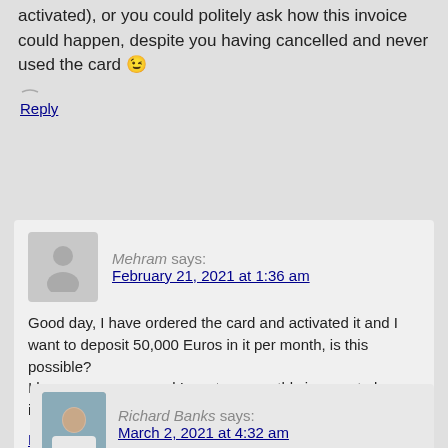activated), or you could politely ask how this invoice could happen, despite you having cancelled and never used the card 😉
Reply
Mehram says:
February 21, 2021 at 1:36 am
Good day, I have ordered the card and activated it and I want to deposit 50,000 Euros in it per month, is this possible?
I have a company and I want my monthly income to be included in this card (VIABUY.)
Reply
Richard Banks says:
March 2, 2021 at 4:32 am
Generally, this is possible. I don't know if it's possible for you, because we don't know each